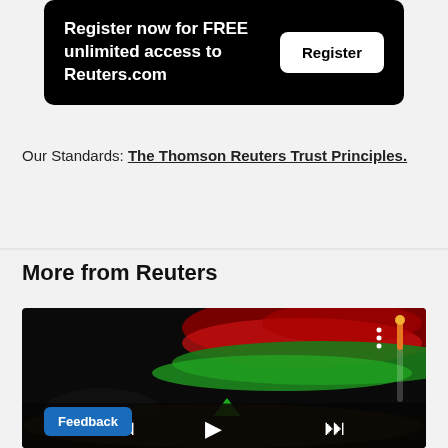[Figure (screenshot): Black banner with white bold text 'Register now for FREE unlimited access to Reuters.com' and a white rounded 'Register' button on the right]
Our Standards: The Thomson Reuters Trust Principles.
More from Reuters
[Figure (screenshot): Video player showing aurora borealis from space/ISS with play controls (skip back, play, skip forward) and a Feedback badge in the bottom left corner]